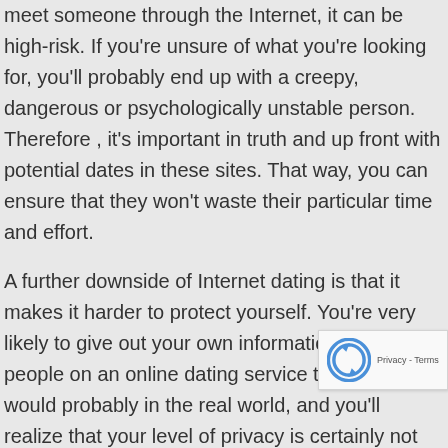meet someone through the Internet, it can be high-risk. If you're unsure of what you're looking for, you'll probably end up with a creepy, dangerous or psychologically unstable person. Therefore , it's important in truth and up front with potential dates in these sites. That way, you can ensure that they won't waste their particular time and effort.
A further downside of Internet dating is that it makes it harder to protect yourself. You're very likely to give out your own information to other people on an online dating service than you would probably in the real world, and you'll realize that your level of privacy is certainly not protected. In some instances, internet dating sites tighter privacy coverages, but you cannot be sure y happen to be protected. During your time on st. kitts are